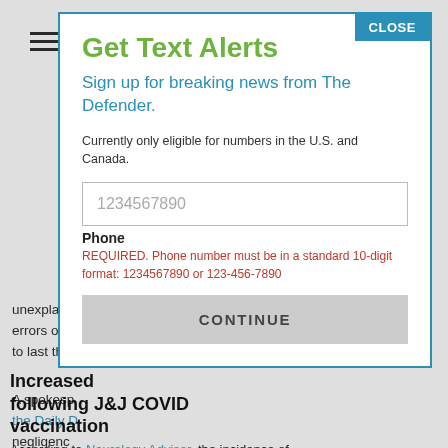[Figure (screenshot): Hamburger menu icon (three horizontal lines) in top left of background page]
unexplain errors or n to last thr
A spokesp the Daily D negligenc the inque
Increased following J&J COVID vaccination
According to Neurology Advisor, the incidence of
Get Text Alerts
Sign up for breaking news from The Defender.
Currently only eligible for numbers in the U.S. and Canada.
1234567890
Phone
REQUIRED. Phone number must be in a standard 10-digit format: 1234567890 or 123-456-7890
CONTINUE